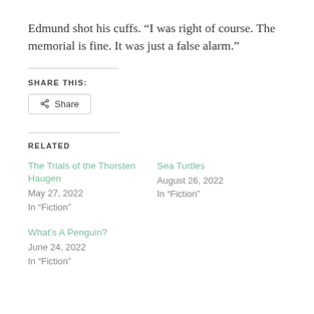Edmund shot his cuffs. “I was right of course. The memorial is fine. It was just a false alarm.”
SHARE THIS:
Share
RELATED
The Trials of the Thorsten Haugen
May 27, 2022
In “Fiction”
Sea Turtles
August 26, 2022
In “Fiction”
What's A Penguin?
June 24, 2022
In “Fiction”